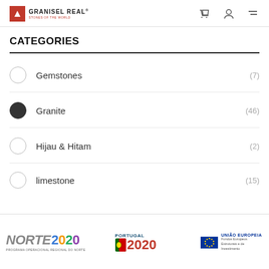GRANISEL REAL - STONES OF THE WORLD
CATEGORIES
Gemstones (7)
Granite (46)
Hijau & Hitam (2)
Limestone (15)
[Figure (logo): Norte 2020 and Portugal 2020 EU funding logos with UNIÃO EUROPEIA and Fundos Europeus Estruturais e de Investimento text]